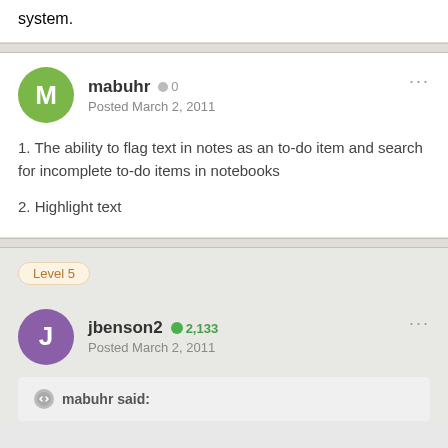system.
mabuhr  ● 0
Posted March 2, 2011
1. The ability to flag text in notes as an to-do item and search for incomplete to-do items in notebooks
2. Highlight text
Level 5
jbenson2  ●+2,133
Posted March 2, 2011
mabuhr said: